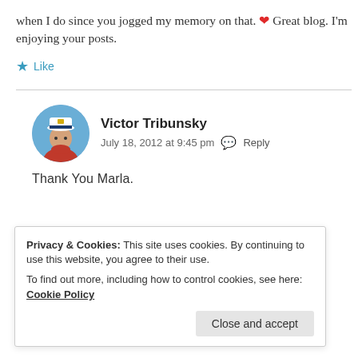when I do since you jogged my memory on that. ❤ Great blog. I'm enjoying your posts.
★ Like
[Figure (photo): Round avatar photo of Victor Tribunsky, a man in a white captain hat and red polo shirt against a blue sky background]
Victor Tribunsky
July 18, 2012 at 9:45 pm 💬 Reply
Thank You Marla.
Privacy & Cookies: This site uses cookies. By continuing to use this website, you agree to their use.
To find out more, including how to control cookies, see here: Cookie Policy
Close and accept